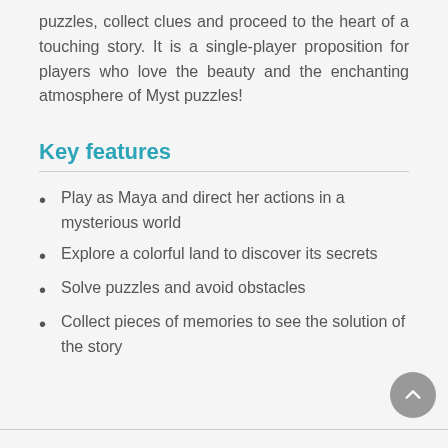puzzles, collect clues and proceed to the heart of a touching story. It is a single-player proposition for players who love the beauty and the enchanting atmosphere of Myst puzzles!
Key features
Play as Maya and direct her actions in a mysterious world
Explore a colorful land to discover its secrets
Solve puzzles and avoid obstacles
Collect pieces of memories to see the solution of the story